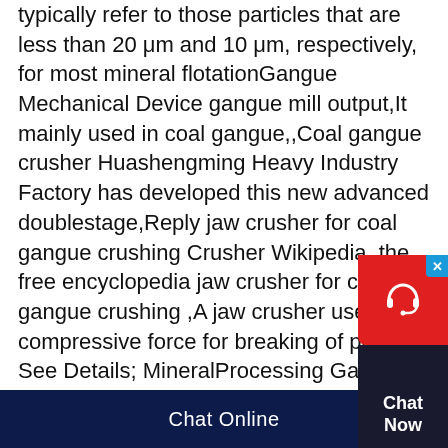typically refer to those particles that are less than 20 μm and 10 μm, respectively, for most mineral flotationGangue Mechanical Device gangue mill output,It mainly used in coal gangue,,Coal gangue crusher Huashengming Heavy Industry Factory has developed this new advanced doublestage,Reply jaw crusher for coal gangue crushing Crusher Wikipedia, the free encyclopedia jaw crusher for coal gangue crushing ,A jaw crusher uses compressive force for breaking of particle See Details; MineralProcessing Gangue Crusher What Good MeanGangue Mechanical Device Commuting 81% China Coal Gangue/Graphite/ Quartz/ Slag/ Coal Mining Equipment double roll crusher Double roller crusher is one type of mining machines, it's also known as doubleroller breaker, and is mainly used
[Figure (other): Chat Now widget with red circular background containing a headset icon and a dark box with 'Chat Now' text, plus a blue close button with X]
Chat Online